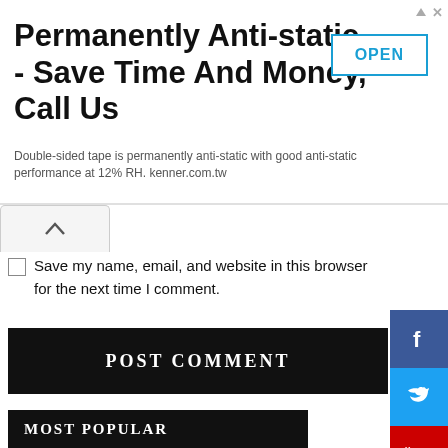[Figure (screenshot): Ad banner: Permanently Anti-static - Save Time And Money, Call Us. With OPEN button. Description: Double-sided tape is permanently anti-static with good anti-static performance at 12% RH. kenner.com.tw]
Save my name, email, and website in this browser for the next time I comment.
POST COMMENT
MOST POPULAR
[Figure (photo): Football match photo showing players in red and blue/white kits]
Football FanCast:Follow View Profile Man United “expected to bid” for “fantastic” 20 y/o ace, he could give Fred nightmares – opinion
Thursday, 18 August 2022, 6:04